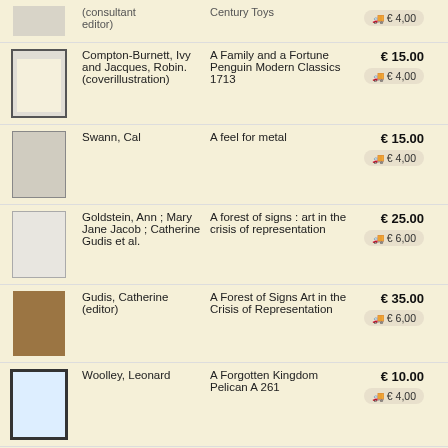| Image | Author | Title | Price |  |
| --- | --- | --- | --- | --- |
| [book] | (consultant editor) | Century Toys | € 4,00 |  |
| [book] | Compton-Burnett, Ivy and Jacques, Robin. (coverillustration) | A Family and a Fortune Penguin Modern Classics 1713 | € 15.00 / € 4,00 |  |
| [book] | Swann, Cal | A feel for metal | € 15.00 / € 4,00 |  |
| [book] | Goldstein, Ann ; Mary Jane Jacob ; Catherine Gudis et al. | A forest of signs : art in the crisis of representation | € 25.00 / € 6,00 |  |
| [book] | Gudis, Catherine (editor) | A Forest of Signs Art in the Crisis of Representation | € 35.00 / € 6,00 |  |
| [book] | Woolley, Leonard | A Forgotten Kingdom Pelican A 261 | € 10.00 / € 4,00 |  |
| [book] | Kosters, Bas; Marc Deurloo (photography) | A gift Permanent state of confusion (meer info) | € 15.00 / € 6,00 |  |
| [book] | Greene, Graham and Hogarth, Paul (cover illustration) | A Gun for Sale An Entertainment, Penguin Books 1895 | € 10.00 / € 4,00 |  |
| [book] |  | A Handlist of |  |  |